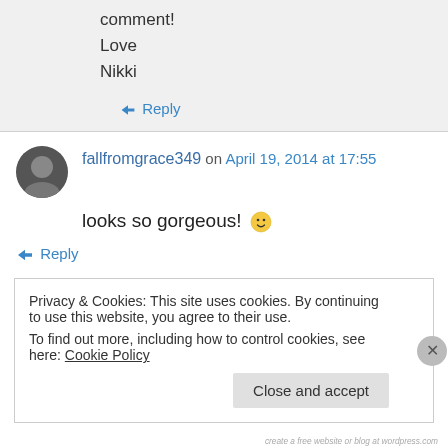comment!
Love
Nikki
↪ Reply
fallfromgrace349 on April 19, 2014 at 17:55
looks so gorgeous! 🙂
↪ Reply
Privacy & Cookies: This site uses cookies. By continuing to use this website, you agree to their use. To find out more, including how to control cookies, see here: Cookie Policy
Close and accept